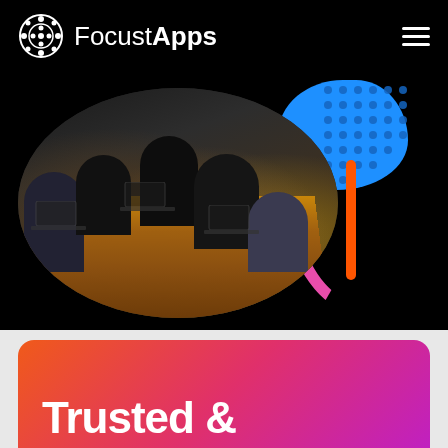[Figure (logo): FocustApps logo with lattice/gear icon on black background]
[Figure (photo): Team of five people working around a wooden conference table with laptops, in a dark room, shown inside an oval/elliptical crop with blue blob and pink arc decorative elements]
Trusted &